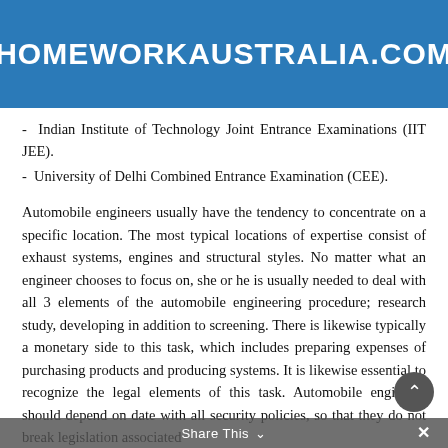HOMEWORKAUSTRALIA.COM
- Indian Institute of Technology Joint Entrance Examinations (IIT JEE).
- University of Delhi Combined Entrance Examination (CEE).
Automobile engineers usually have the tendency to concentrate on a specific location. The most typical locations of expertise consist of exhaust systems, engines and structural styles. No matter what an engineer chooses to focus on, she or he is usually needed to deal with all 3 elements of the automobile engineering procedure; research study, developing in addition to screening. There is likewise typically a monetary side to this task, which includes preparing expenses of purchasing products and producing systems. It is likewise essential to recognize the legal elements of this task. Automobile engineers should depend on date with all security policies, so that they do not break legislation associated
Share This